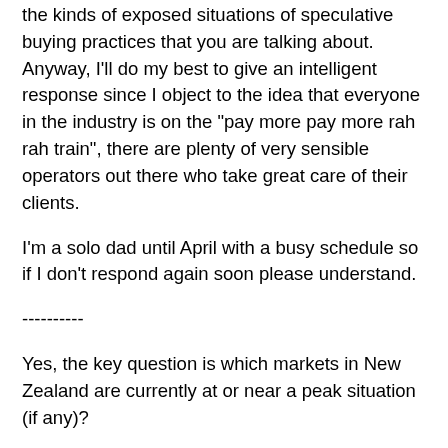the kinds of exposed situations of speculative buying practices that you are talking about. Anyway, I'll do my best to give an intelligent response since I object to the idea that everyone in the industry is on the "pay more pay more rah rah train", there are plenty of very sensible operators out there who take great care of their clients.
I'm a solo dad until April with a busy schedule so if I don't respond again soon please understand.
----------
Yes, the key question is which markets in New Zealand are currently at or near a peak situation (if any)?
>> I don't know. Queenstown seems like one, however compare it with places like Tahoe in the USA and it's cheap. There is more money sloshing around California than little ole NZ tho. QT has come off the boil since the OIA came into force but that doesn't mean the market was too expensive, plenty of people were clearly willing to buy there, it means that an artificial mechanism to reduce buyer demand has worked. Or has it? It could just be the same credit tightening.
>> However holiday areas have traditionally been more volatile than stable working towns and cities.
Some property owners who are property professionals may know